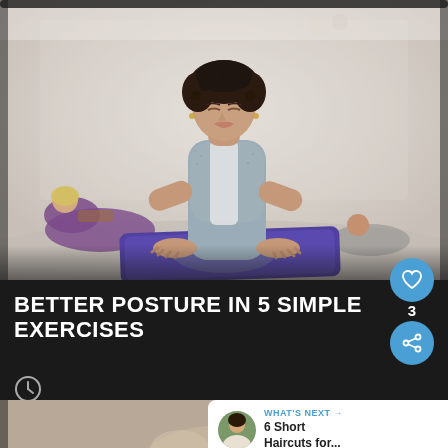[Figure (photo): Woman doing cobra yoga pose on a purple mat in a bright studio, eyes closed, wearing gray top. Other women doing similar poses in the background.]
BETTER POSTURE IN 5 SIMPLE EXERCISES
[Figure (photo): Partial view of a person doing a yoga or stretching exercise, bottom section of page.]
WHAT'S NEXT → 6 Short Haircuts for...